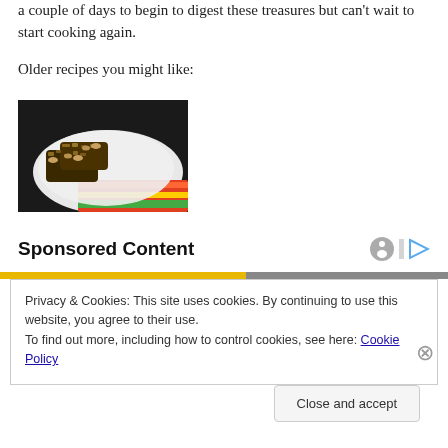a couple of days to begin to digest these treasures but can't wait to start cooking again.
Older recipes you might like:
[Figure (photo): Photo of nutty/seed-covered food bars or cookies on a white plate with a colorful striped cloth underneath, dark background]
Sponsored Content
Privacy & Cookies: This site uses cookies. By continuing to use this website, you agree to their use.
To find out more, including how to control cookies, see here: Cookie Policy
Close and accept